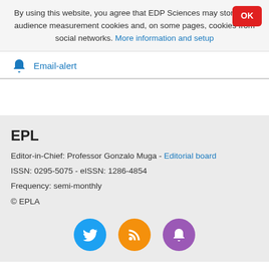By using this website, you agree that EDP Sciences may store web audience measurement cookies and, on some pages, cookies from social networks. More information and setup
OK
Email-alert
EPL
Editor-in-Chief: Professor Gonzalo Muga - Editorial board
ISSN: 0295-5075 - eISSN: 1286-4854
Frequency: semi-monthly
© EPLA
[Figure (illustration): Three social media icon circles: Twitter (blue), RSS (orange), Notification bell (purple)]